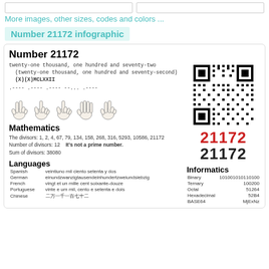[Figure (other): Two placeholder image boxes at the top]
More images, other sizes, codes and colors ...
Number 21172 infographic
Number 21172
twenty-one thousand, one hundred and seventy-two  (twenty-one thousand, one hundred and seventy-second)  (X)(X)MCLXXII
.---- .---- .---- --... .----
[Figure (illustration): Five hand gesture illustrations showing fingers for digits 2,1,1,7,2]
[Figure (other): QR code for number 21172]
21172
21172
Mathematics
The divisors: 1, 2, 4, 67, 79, 134, 158, 268, 316, 5293, 10586, 21172
Number of divisors: 12     It's not a prime number.
Sum of divisors: 38080
Languages
Informatics
| Language | Text |
| --- | --- |
| Spanish | veintiuno mil ciento setenta y dos |
| German | einundzwanzigtausendeinhundertzweiundsiebzig |
| French | vingt et un mille cent soixante-douze |
| Portuguese | vinte e um mil, cento e setenta e dois |
| Chinese | 二万一千一百七十二 |
| Type | Value |
| --- | --- |
| Binary | 101001010110100 |
| Ternary | 100200 |
| Octal | 51264 |
| Hexadecimal | 52B4 |
| BASE64 | MjExNz |